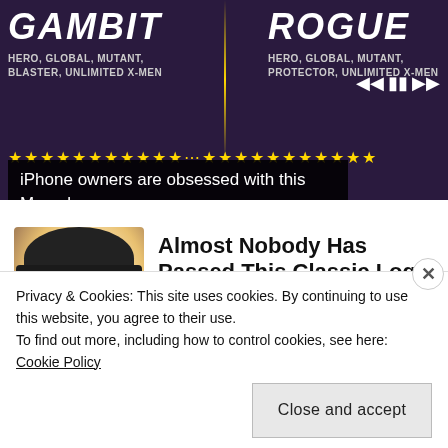[Figure (screenshot): Marvel game advertisement showing Gambit and Rogue characters with stars rating and caption 'iPhone owners are obsessed with this Marvel game']
Almost Nobody Has Passed This Classic Logo Quiz
WarpedSpeed
Privacy & Cookies: This site uses cookies. By continuing to use this website, you agree to their use.
To find out more, including how to control cookies, see here: Cookie Policy
Close and accept